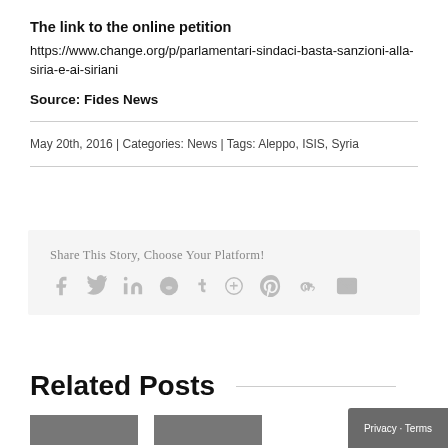The link to the online petition
https://www.change.org/p/parlamentari-sindaci-basta-sanzioni-alla-siria-e-ai-siriani
Source: Fides News
May 20th, 2016  |  Categories: News  |  Tags: Aleppo, ISIS, Syria
Share This Story, Choose Your Platform!
[Figure (infographic): Social sharing icons: Facebook, Twitter, LinkedIn, Reddit, Tumblr, Google+, Pinterest, VK, Email]
Related Posts